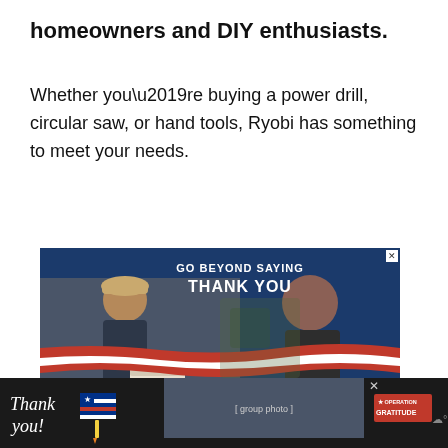homeowners and DIY enthusiasts.
Whether you’re buying a power drill, circular saw, or hand tools, Ryobi has something to meet your needs.
[Figure (photo): Advertisement showing two people exchanging a box, text reads 'GO BEYOND SAYING THANK YOU' and 'JOIN US', 'OPERATION GRATITUDE' branding. Military/patriotic theme with red, white, and blue design elements.]
[Figure (photo): Bottom banner advertisement: 'Thank you!' handwritten text with flag graphic, group photo of people, 'OPERATION GRATITUDE' logo on dark background.]